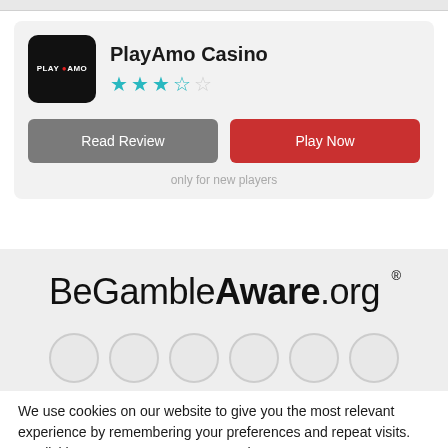[Figure (logo): PlayAmo Casino card with logo, star rating, Read Review and Play Now buttons, and 'only for new players' text]
[Figure (logo): BeGambleAware.org logo in large bold text on a light grey background]
We use cookies on our website to give you the most relevant experience by remembering your preferences and repeat visits. By clicking "Accept", you consent to the use